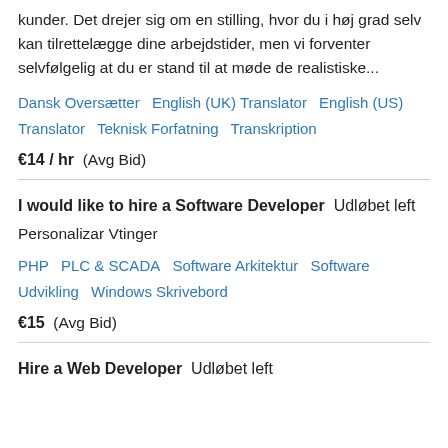kunder. Det drejer sig om en stilling, hvor du i høj grad selv kan tilrettelægge dine arbejdstider, men vi forventer selvfølgelig at du er stand til at møde de realistiske...
Dansk Oversætter  English (UK) Translator  English (US) Translator  Teknisk Forfatning  Transkription
€14 / hr  (Avg Bid)
I would like to hire a Software Developer  Udløbet left
Personalizar Vtinger
PHP  PLC & SCADA  Software Arkitektur  Software Udvikling  Windows Skrivebord
€15  (Avg Bid)
Hire a Web Developer  Udløbet left